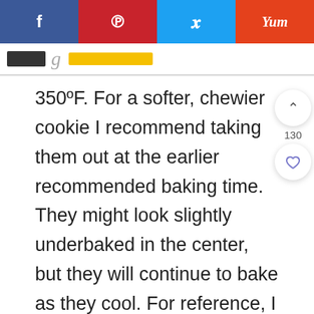f | p | y | Yum
350ºF. For a softer, chewier cookie I recommend taking them out at the earlier recommended baking time. They might look slightly underbaked in the center, but they will continue to bake as they cool. For reference, I took mine out at the 8-minute mark.
They'll be puffy once baked, but as they cool will flatten.